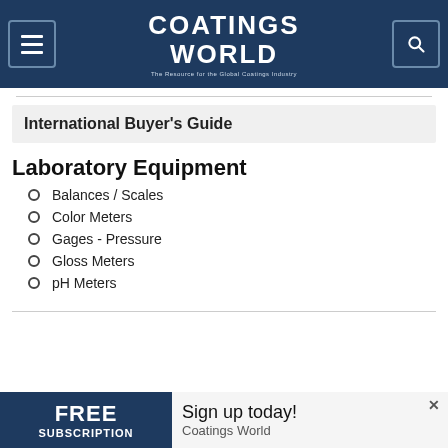COATINGS WORLD — The Resource for the Global Coatings Industry
International Buyer's Guide
Laboratory Equipment
Balances / Scales
Color Meters
Gages - Pressure
Gloss Meters
pH Meters
[Figure (infographic): Advertisement banner: FREE SUBSCRIPTION — Sign up today! Coatings World]